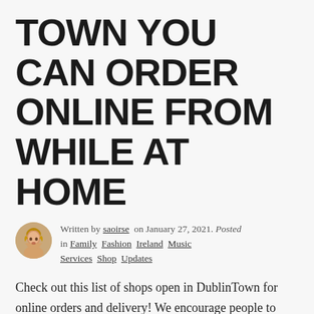TOWN YOU CAN ORDER ONLINE FROM WHILE AT HOME
Written by saoirse on January 27, 2021. Posted in Family Fashion Ireland Music Services Shop Updates
Check out this list of shops open in DublinTown for online orders and delivery! We encourage people to continue to support local business and support Dublin city centre through these challenging times! If you are shopping online, please support businesses who support Irish jobs and the Irish economy!